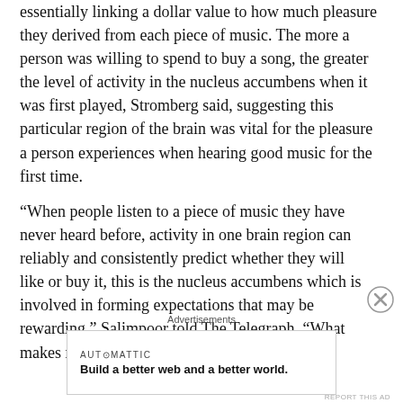essentially linking a dollar value to how much pleasure they derived from each piece of music. The more a person was willing to spend to buy a song, the greater the level of activity in the nucleus accumbens when it was first played, Stromberg said, suggesting this particular region of the brain was vital for the pleasure a person experiences when hearing good music for the first time.
“When people listen to a piece of music they have never heard before, activity in one brain region can reliably and consistently predict whether they will like or buy it, this is the nucleus accumbens which is involved in forming expectations that may be rewarding,” Salimpoor told The Telegraph. “What makes music so emotionally powerful is
Advertisements
[Figure (other): Automattic advertisement banner: 'Build a better web and a better world.']